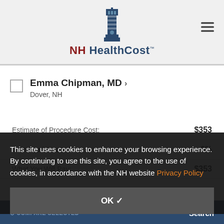[Figure (logo): NH HealthCost lighthouse logo with text 'NH HealthCost TM' and hamburger menu icon]
Emma Chipman, MD >
Dover, NH
Estimate of Procedure Cost:
$353
Uninsured Discount:
0%
What You Will Pay:
$353
This site uses cookies to enhance your browsing experience. By continuing to use this site, you agree to the use of cookies, in accordance with the NH website Privacy Policy
OK ✓
COMPARE SELECTED
Search